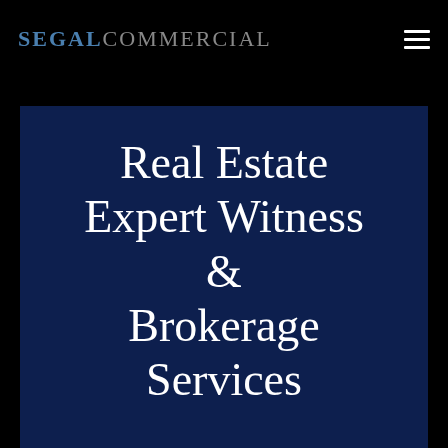SEGALCOMMERCIAL
Real Estate Expert Witness & Brokerage Services